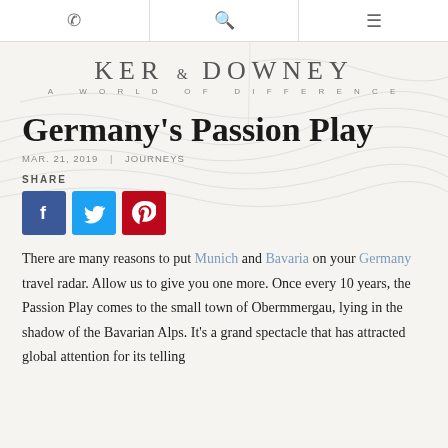KER & DOWNEY — A WORLD OF DIFFERENCE
Germany's Passion Play
MAR. 21, 2019 | JOURNEYS
SHARE
[Figure (other): Social share buttons: Facebook, Twitter, Pinterest]
There are many reasons to put Munich and Bavaria on your Germany travel radar. Allow us to give you one more. Once every 10 years, the Passion Play comes to the small town of Obermmergau, lying in the shadow of the Bavarian Alps. It's a grand spectacle that has attracted global attention for its telling